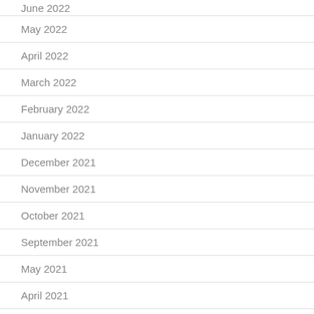June 2022
May 2022
April 2022
March 2022
February 2022
January 2022
December 2021
November 2021
October 2021
September 2021
May 2021
April 2021